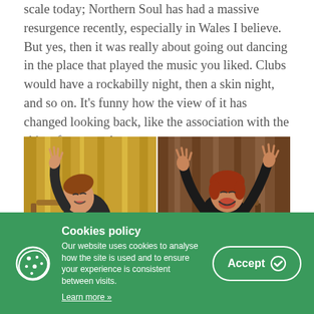scale today; Northern Soul has had a massive resurgence recently, especially in Wales I believe. But yes, then it was really about going out dancing in the place that played the music you liked. Clubs would have a rockabilly night, then a skin night, and so on. It's funny how the view of it has changed looking back, like the association with the skins, for example.
[Figure (photo): Two people sitting in chairs with arms raised, in front of yellow and brown curtains. The image appears to be split into two panels.]
Cookies policy
Our website uses cookies to analyse how the site is used and to ensure your experience is consistent between visits.
Learn more »